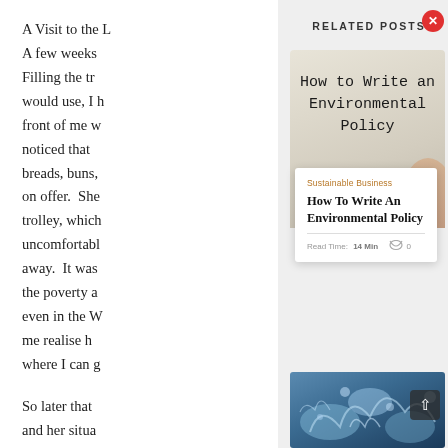A Visit to the L
A few weeks
Filling the tr
would use, I h
front of me w
noticed that
breads, buns,
on offer. She
trolley, which
uncomfortabl
away. It was
the poverty a
even in the W
me realise h
where I can g

So later that
and her situa
RELATED POSTS
How to Write an Environmental Policy
Sustainable Business
How To Write An Environmental Policy
Read Time:  14 Min  0
[Figure (photo): Water splash / droplets close-up photo with blue tones]